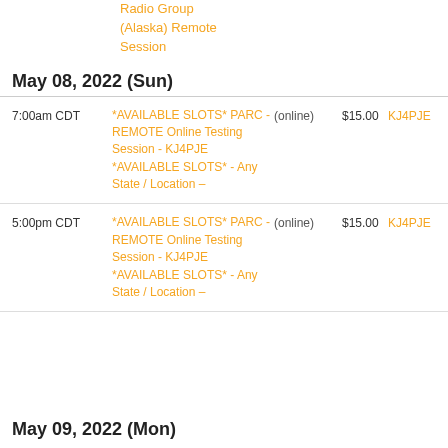Radio Group (Alaska) Remote Session
May 08, 2022 (Sun)
| Time | Session Name | Location | Fee | Contact |
| --- | --- | --- | --- | --- |
| 7:00am CDT | *AVAILABLE SLOTS* PARC - REMOTE Online Testing Session - KJ4PJE *AVAILABLE SLOTS* - Any State / Location – | (online) | $15.00 | KJ4PJE |
| 5:00pm CDT | *AVAILABLE SLOTS* PARC - REMOTE Online Testing Session - KJ4PJE *AVAILABLE SLOTS* - Any State / Location – | (online) | $15.00 | KJ4PJE |
May 09, 2022 (Mon)